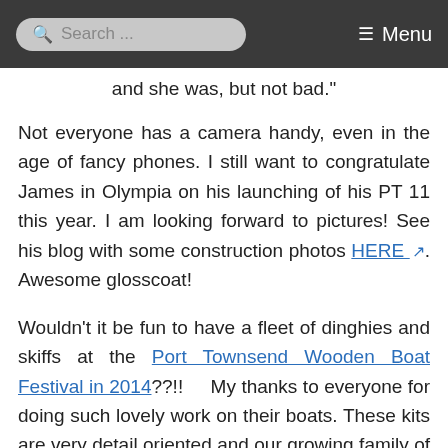Search ... Menu
and she was, but not bad."
Not everyone has a camera handy, even in the age of fancy phones. I still want to congratulate James in Olympia on his launching of his PT 11 this year. I am looking forward to pictures! See his blog with some construction photos HERE. Awesome glosscoat!
Wouldn't it be fun to have a fleet of dinghies and skiffs at the Port Townsend Wooden Boat Festival in 2014??!! My thanks to everyone for doing such lovely work on their boats. These kits are very detail oriented and our growing family of builders appears to be putting heart and soul into their projects and I